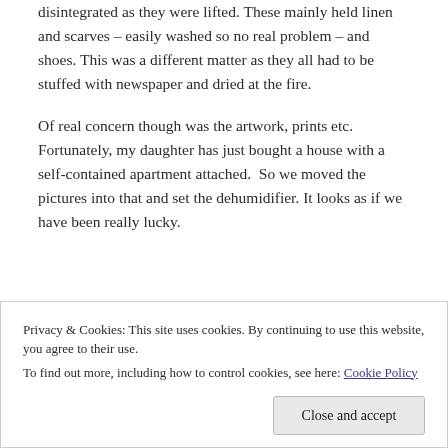disintegrated as they were lifted. These mainly held linen and scarves – easily washed so no real problem – and shoes. This was a different matter as they all had to be stuffed with newspaper and dried at the fire.
Of real concern though was the artwork, prints etc.  Fortunately, my daughter has just bought a house with a self-contained apartment attached.  So we moved the pictures into that and set the dehumidifier. It looks as if we have been really lucky.
Privacy & Cookies: This site uses cookies. By continuing to use this website, you agree to their use.
To find out more, including how to control cookies, see here: Cookie Policy